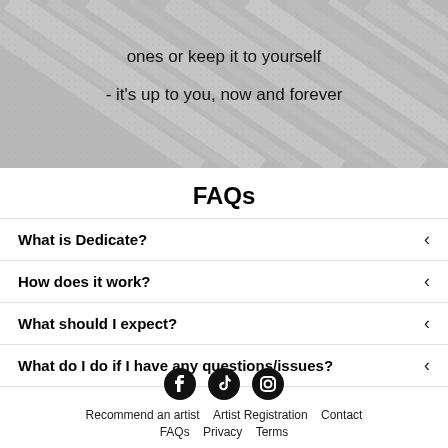[Figure (illustration): Diagonal striped texture background with overlay text reading 'ones or keep it to yourself - it’s up to you, now and forever']
ones or keep it to yourself
- it's up to you, now and forever
FAQs
What is Dedicate?
How does it work?
What should I expect?
What do I do if I have any questions/issues?
Recommend an artist   Artist Registration   Contact   FAQs   Privacy   Terms